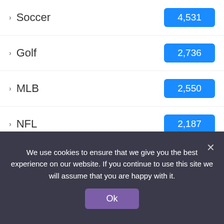Soccer 4,531
Golf 2,736
MLB 2,550
NFL 2,187
BOXING 2,047
F1 2,025
NBA 1,607
Tennis 1,490
WWE 1,448
Coach 1,431
We use cookies to ensure that we give you the best experience on our website. If you continue to use this site we will assume that you are happy with it.